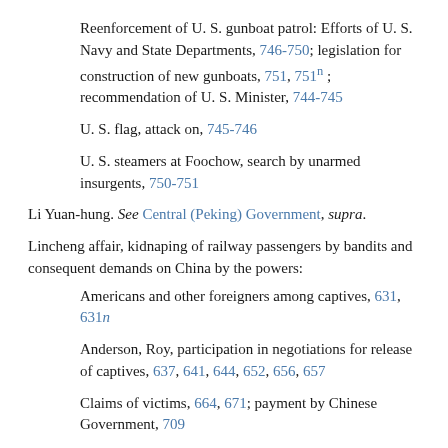Reenforcement of U. S. gunboat patrol: Efforts of U. S. Navy and State Departments, 746–750; legislation for construction of new gunboats, 751, 751n; recommendation of U. S. Minister, 744–745
U. S. flag, attack on, 745–746
U. S. steamers at Foochow, search by unarmed insurgents, 750–751
Li Yuan-hung. See Central (Peking) Government, supra.
Lincheng affair, kidnaping of railway passengers by bandits and consequent demands on China by the powers:
Americans and other foreigners among captives, 631, 631n
Anderson, Roy, participation in negotiations for release of captives, 637, 641, 644, 652, 656, 657
Claims of victims, 664, 671; payment by Chinese Government, 709
Demands on China by the powers. See Terms of settlement, infra.
Efforts for release of captives: Activities of U. S. Minister and